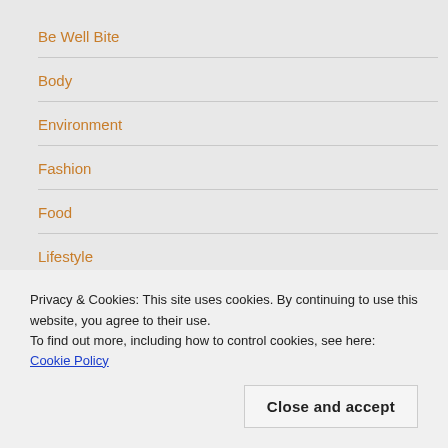Be Well Bite
Body
Environment
Fashion
Food
Lifestyle
Privacy & Cookies: This site uses cookies. By continuing to use this website, you agree to their use.
To find out more, including how to control cookies, see here: Cookie Policy
Relationships